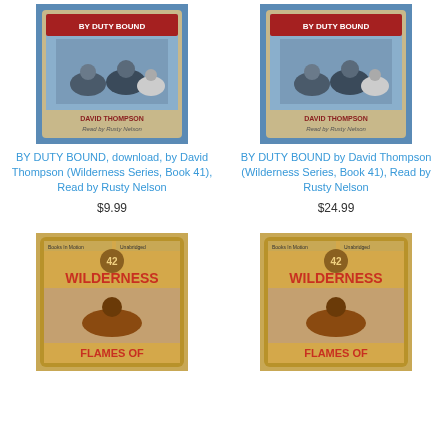[Figure (photo): Book cover for BY DUTY BOUND by David Thompson, Wilderness Series Book 41, audiobook download, Read by Rusty Nelson. Shows two men on horseback.]
BY DUTY BOUND, download, by David Thompson (Wilderness Series, Book 41), Read by Rusty Nelson
$9.99
[Figure (photo): Book cover for BY DUTY BOUND by David Thompson, Wilderness Series Book 41, CD audiobook, Read by Rusty Nelson. Shows two men on horseback.]
BY DUTY BOUND by David Thompson (Wilderness Series, Book 41), Read by Rusty Nelson
$24.99
[Figure (photo): Book cover for FLAMES OF audiobook download, Wilderness Series Book 42, showing a rider on horseback.]
[Figure (photo): Book cover for FLAMES OF CD audiobook, Wilderness Series Book 42, showing a rider on horseback.]